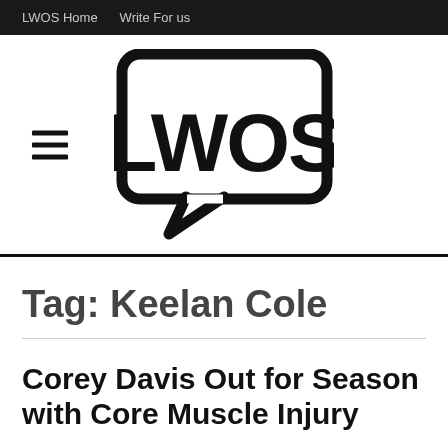LWOS Home   Write For us
[Figure (logo): LWOS logo — speech bubble containing bold text 'LWOS' with a hamburger menu icon to the left]
Tag: Keelan Cole
Corey Davis Out for Season with Core Muscle Injury